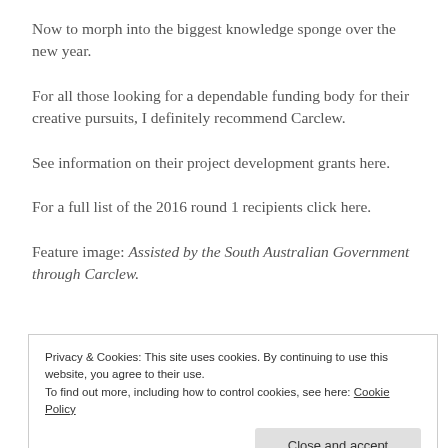Now to morph into the biggest knowledge sponge over the new year.
For all those looking for a dependable funding body for their creative pursuits, I definitely recommend Carclew.
See information on their project development grants here.
For a full list of the 2016 round 1 recipients click here.
Feature image: Assisted by the South Australian Government through Carclew.
Privacy & Cookies: This site uses cookies. By continuing to use this website, you agree to their use.
To find out more, including how to control cookies, see here: Cookie Policy
I MADE MY OWN COLOUR